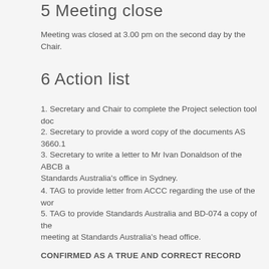5 Meeting close
Meeting was closed at 3.00 pm on the second day by the Chair.
6 Action list
1. Secretary and Chair to complete the Project selection tool doc
2. Secretary to provide a word copy of the documents AS 3660.1
3. Secretary to write a letter to Mr Ivan Donaldson of the ABCB a Standards Australia's office in Sydney.
4. TAG to provide letter from ACCC regarding the use of the wor
5. TAG to provide Standards Australia and BD-074 a copy of the meeting at Standards Australia's head office.
CONFIRMED AS A TRUE AND CORRECT RECORD